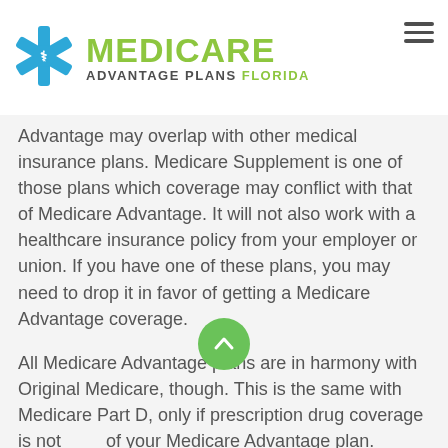MEDICARE ADVANTAGE PLANS FLORIDA
Advantage may overlap with other medical insurance plans. Medicare Supplement is one of those plans which coverage may conflict with that of Medicare Advantage. It will not also work with a healthcare insurance policy from your employer or union. If you have one of these plans, you may need to drop it in favor of getting a Medicare Advantage coverage.
All Medicare Advantage plans are in harmony with Original Medicare, though. This is the same with Medicare Part D, only if prescription drug coverage is not part of your Medicare Advantage plan.